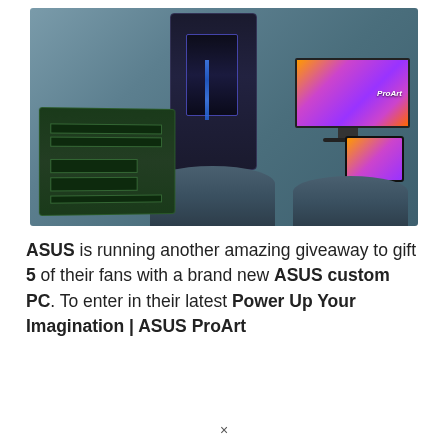[Figure (photo): Product photo showing ASUS PC components: a dark gaming tower PC with blue LED lighting on a grey pedestal, a large ProArt monitor with colorful gradient wallpaper on a pedestal, a small ProArt tablet/monitor, and an ASUS motherboard in the foreground, all on a blue-grey studio background.]
ASUS is running another amazing giveaway to gift 5 of their fans with a brand new ASUS custom PC. To enter in their latest Power Up Your Imagination | ASUS ProArt